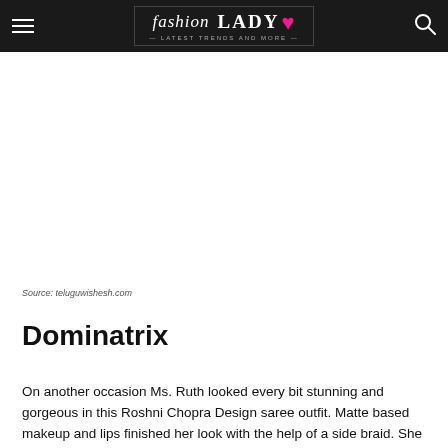fashion LADY · Latest Trends and More
Source: teluguwishesh.com
Dominatrix
On another occasion Ms. Ruth looked every bit stunning and gorgeous in this Roshni Chopra Design saree outfit. Matte based makeup and lips finished her look with the help of a side braid. She looked lovely and intimidating!